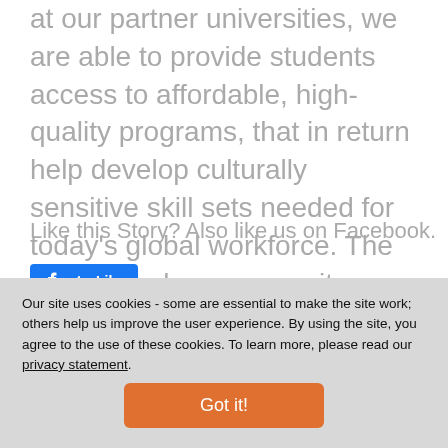at our partner universities, we are able to provide students access to affordable, high-quality programs, that in return help develop culturally sensitive skill sets needed for today's global workforce. The ISEP member community includes 330+ members in 53 countries.
Like this Story? Also like us on Facebook.
[Figure (other): Facebook Like button - blue rounded rectangle with thumbs up icon and 'Like' text in white]
Our site uses cookies - some are essential to make the site work; others help us improve the user experience. By using the site, you agree to the use of these cookies. To learn more, please read our privacy statement.
Got it!